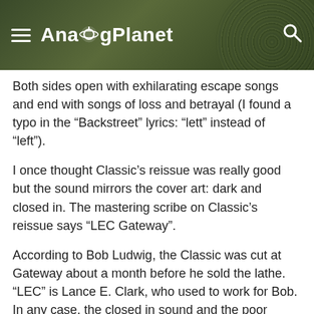AnalogPlanet
Both sides open with exhilarating escape songs and end with songs of loss and betrayal (I found a typo in the “Backstreet” lyrics: “lett” instead of “left”).
I once thought Classic’s reissue was really good but the sound mirrors the cover art: dark and closed in. The mastering scribe on Classic’s reissue says “LEC Gateway”.
According to Bob Ludwig, the Classic was cut at Gateway about a month before he sold the lathe. “LEC” is Lance E. Clark, who used to work for Bob. In any case, the closed in sound and the poor graphics can’t compare to the new reissue sourced from a Plangent processed tape digitized at 96/24, which is